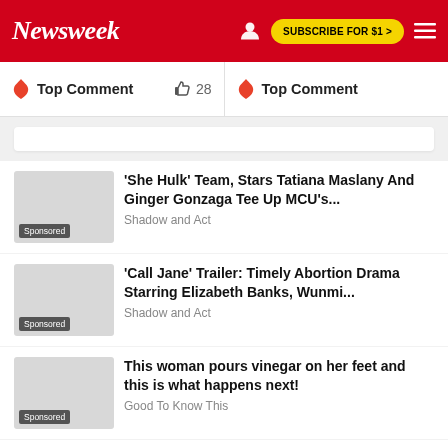Newsweek
Top Comment  28  Top Comment
'She Hulk' Team, Stars Tatiana Maslany And Ginger Gonzaga Tee Up MCU's... Shadow and Act
'Call Jane' Trailer: Timely Abortion Drama Starring Elizabeth Banks, Wunmi... Shadow and Act
This woman pours vinegar on her feet and this is what happens next! Good To Know This
AdChoices Sponsored